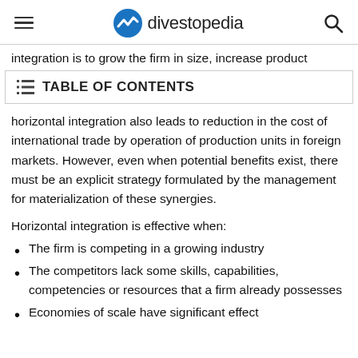divestopedia
integration is to grow the firm in size, increase product
TABLE OF CONTENTS
horizontal integration also leads to reduction in the cost of international trade by operation of production units in foreign markets. However, even when potential benefits exist, there must be an explicit strategy formulated by the management for materialization of these synergies.
Horizontal integration is effective when:
The firm is competing in a growing industry
The competitors lack some skills, capabilities, competencies or resources that a firm already possesses
Economies of scale have significant effect